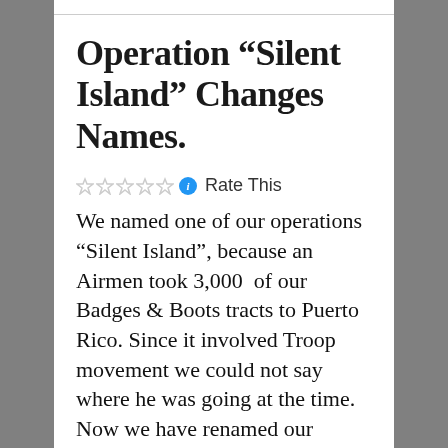Operation “Silent Island” Changes Names.
Rate This
We named one of our operations “Silent Island”, because an Airmen took 3,000 of our Badges & Boots tracts to Puerto Rico. Since it involved Troop movement we could not say where he was going at the time. Now we have renamed our Operation “Island Thunder.” The Airman met up with a National Pastor and